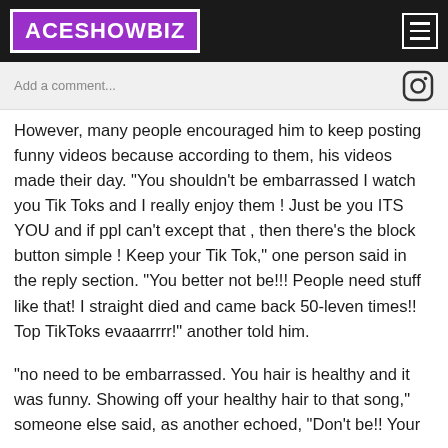ACESHOWBIZ
Add a comment...
However, many people encouraged him to keep posting funny videos because according to them, his videos made their day. "You shouldn't be embarrassed I watch you Tik Toks and I really enjoy them ! Just be you ITS YOU and if ppl can't except that , then there's the block button simple ! Keep your Tik Tok," one person said in the reply section. "You better not be!!! People need stuff like that! I straight died and came back 50-leven times!! Top TikToks evaaarrrr!" another told him.
"no need to be embarrassed. You hair is healthy and it was funny. Showing off your healthy hair to that song," someone else said, as another echoed, "Don't be!! Your